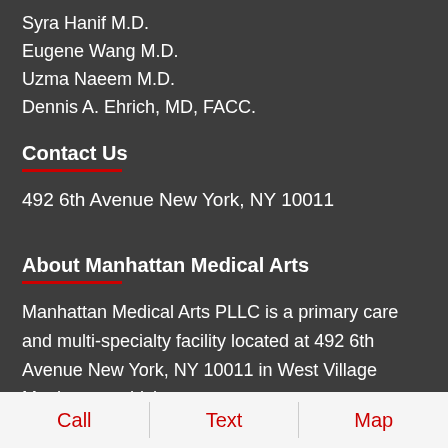Syra Hanif M.D.
Eugene Wang M.D.
Uzma Naeem M.D.
Dennis A. Ehrich, MD, FACC.
Contact Us
492 6th Avenue New York, NY 10011
About Manhattan Medical Arts
Manhattan Medical Arts PLLC is a primary care and multi-specialty facility located at 492 6th Avenue New York, NY 10011 in West Village Manhattan, which
Call  Text  Map